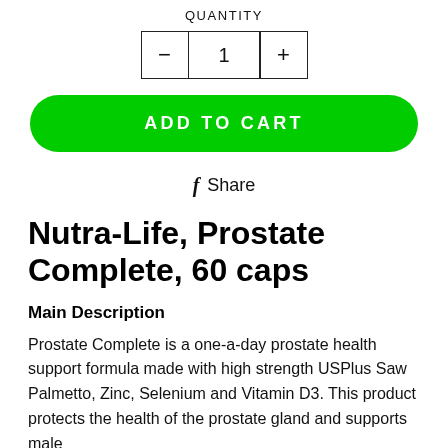QUANTITY
| - | 1 | + |
| --- | --- | --- |
ADD TO CART
f Share
Nutra-Life, Prostate Complete, 60 caps
Main Description
Prostate Complete is a one-a-day prostate health support formula made with high strength USPlus Saw Palmetto, Zinc, Selenium and Vitamin D3. This product protects the health of the prostate gland and supports male